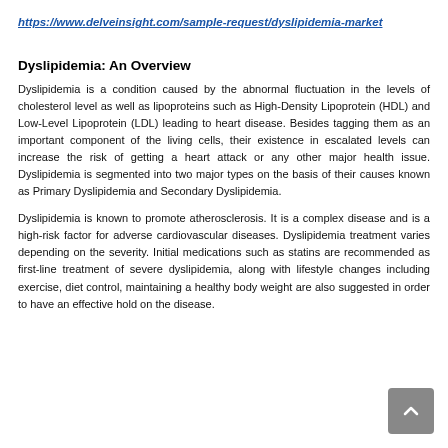https://www.delveinsight.com/sample-request/dyslipidemia-market
Dyslipidemia: An Overview
Dyslipidemia is a condition caused by the abnormal fluctuation in the levels of cholesterol level as well as lipoproteins such as High-Density Lipoprotein (HDL) and Low-Level Lipoprotein (LDL) leading to heart disease. Besides tagging them as an important component of the living cells, their existence in escalated levels can increase the risk of getting a heart attack or any other major health issue. Dyslipidemia is segmented into two major types on the basis of their causes known as Primary Dyslipidemia and Secondary Dyslipidemia.
Dyslipidemia is known to promote atherosclerosis. It is a complex disease and is a high-risk factor for adverse cardiovascular diseases. Dyslipidemia treatment varies depending on the severity. Initial medications such as statins are recommended as first-line treatment of severe dyslipidemia, along with lifestyle changes including exercise, diet control, maintaining a healthy body weight are also suggested in order to have an effective hold on the disease.